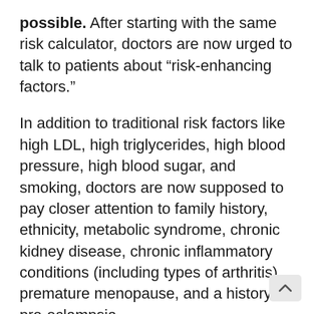possible. After starting with the same risk calculator, doctors are now urged to talk to patients about “risk-enhancing factors.”
In addition to traditional risk factors like high LDL, high triglycerides, high blood pressure, high blood sugar, and smoking, doctors are now supposed to pay closer attention to family history, ethnicity, metabolic syndrome, chronic kidney disease, chronic inflammatory conditions (including types of arthritis), premature menopause, and a history of pre-eclampsia.
When in doubt about the degree of overall risk, doctors should order a heart scan (coronary calcium scan), which